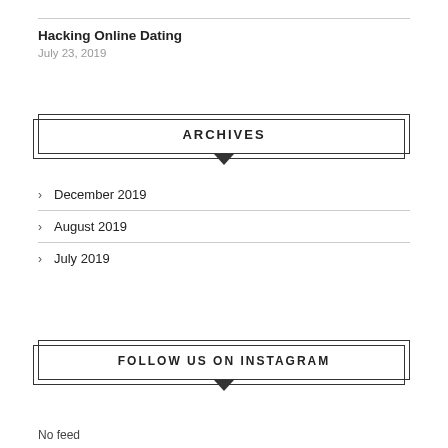Hacking Online Dating
July 23, 2019
ARCHIVES
December 2019
August 2019
July 2019
FOLLOW US ON INSTAGRAM
No feed